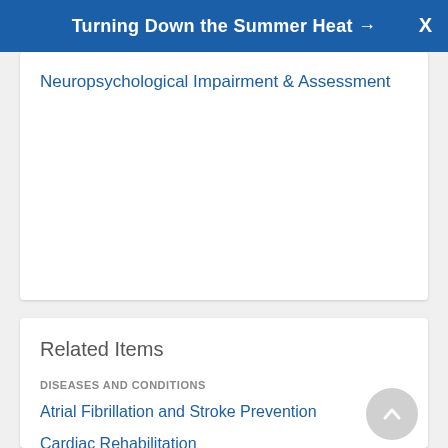Turning Down the Summer Heat →
Neuropsychological Impairment & Assessment
Related Items
DISEASES AND CONDITIONS
Atrial Fibrillation and Stroke Prevention
Cardiac Rehabilitation
View All 10
PEDIATRIC DISEASES AND CONDITIONS
Anomalous Coronary Artery in Children